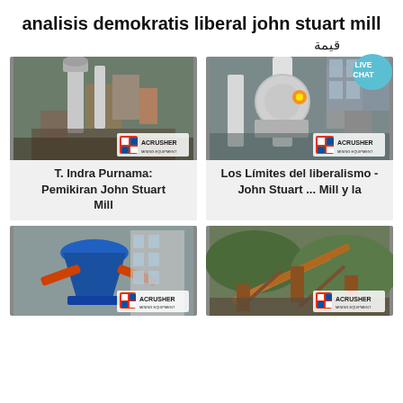analisis demokratis liberal john stuart mill
قيمة
[Figure (photo): Industrial milling/grinding equipment in a factory setting with ACRUSHER MINING EQUIPMENT logo]
[Figure (photo): Industrial milling/grinding equipment in a factory with ACRUSHER MINING EQUIPMENT logo and live chat bubble]
T. Indra Purnama: Pemikiran John Stuart Mill
Los Límites del liberalismo - John Stuart ... Mill y la
[Figure (photo): Blue industrial cone crusher machine with ACRUSHER logo]
[Figure (photo): Open-pit mining conveyor belt equipment with ACRUSHER logo]